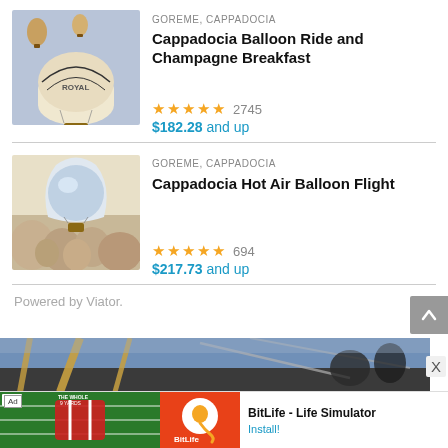[Figure (photo): Hot air balloons in sky over Cappadocia, with 'ROYAL' branded balloon in foreground]
GOREME, CAPPADOCIA
Cappadocia Balloon Ride and Champagne Breakfast
★★★★★ 2745
$182.28 and up
[Figure (photo): Hot air balloon close to ground at sunrise over rocky Cappadocia landscape]
GOREME, CAPPADOCIA
Cappadocia Hot Air Balloon Flight
★★★★★ 694
$217.73 and up
Powered by Viator.
[Figure (photo): Bottom photo showing basket/gondola of hot air balloon with people]
[Figure (screenshot): Ad banner: BitLife - Life Simulator app advertisement with Install button]